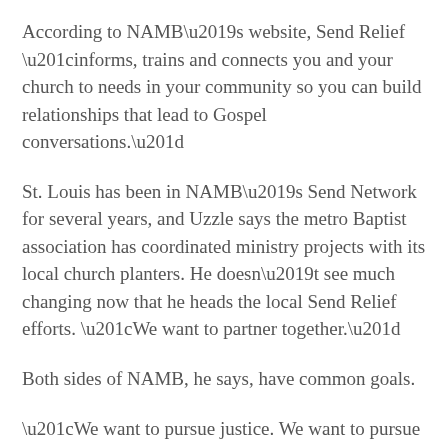According to NAMB’s website, Send Relief “informs, trains and connects you and your church to needs in your community so you can build relationships that lead to Gospel conversations.”
St. Louis has been in NAMB’s Send Network for several years, and Uzzle says the metro Baptist association has coordinated ministry projects with its local church planters. He doesn’t see much changing now that he heads the local Send Relief efforts. “We want to partner together.”
Both sides of NAMB, he says, have common goals.
“We want to pursue justice. We want to pursue compassion. We want to pursue lostness. We believe in seeing neighborhoods transformed—to see churches